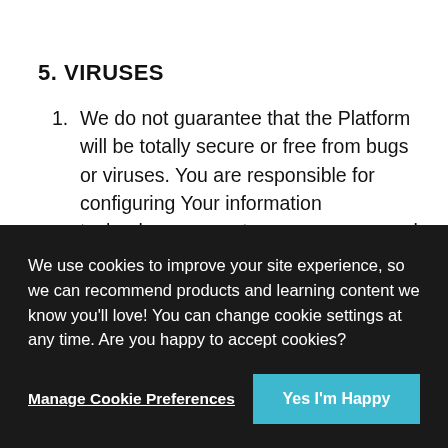5. VIRUSES
We do not guarantee that the Platform will be totally secure or free from bugs or viruses. You are responsible for configuring Your information technology, computer programmes and platform in order to access/attend an Event and We recommend that You use Your own virus protection
We use cookies to improve your site experience, so we can recommend products and learning content we know you'll love! You can change cookie settings at any time. Are you happy to accept cookies?
Manage Cookie Preferences
Yes I'm Happy